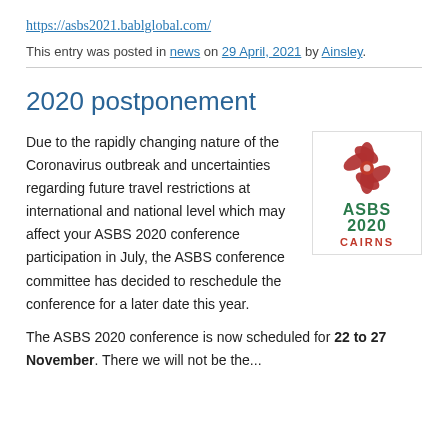https://asbs2021.bablglobal.com/
This entry was posted in news on 29 April, 2021 by Ainsley.
2020 postponement
Due to the rapidly changing nature of the Coronavirus outbreak and uncertainties regarding future travel restrictions at international and national level which may affect your ASBS 2020 conference participation in July, the ASBS conference committee has decided to reschedule the conference for a later date this year.
[Figure (logo): ASBS 2020 Cairns logo with red flower and green text]
The ASBS 2020 conference is now scheduled for 22 to 27 November. There will not be the...